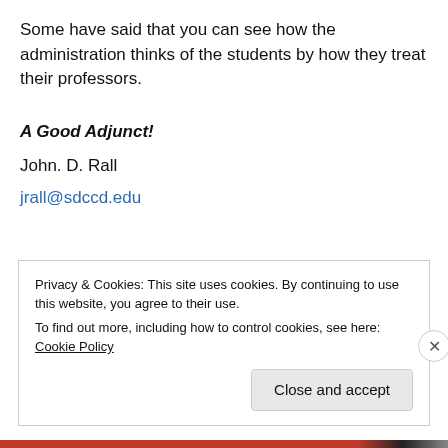Some have said that you can see how the administration thinks of the students by how they treat their professors.
A Good Adjunct!
John. D. Rall
jrall@sdccd.edu
Privacy & Cookies: This site uses cookies. By continuing to use this website, you agree to their use.
To find out more, including how to control cookies, see here: Cookie Policy